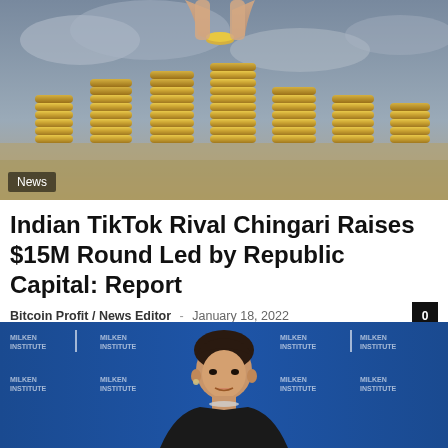[Figure (photo): Stacked gold coins with a hand holding a coin above them, against a cloudy sky background]
News
Indian TikTok Rival Chingari Raises $15M Round Led by Republic Capital: Report
Bitcoin Profit / News Editor – January 18, 2022
[Figure (photo): Woman speaking at a Milken Institute event, in front of a blue branded backdrop with Milken Institute logos]